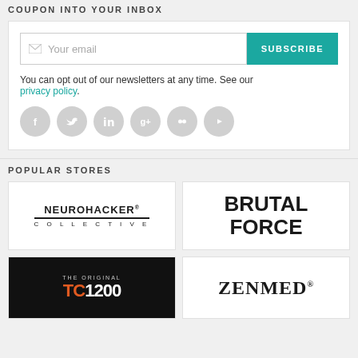COUPON INTO YOUR INBOX
[Figure (screenshot): Email subscription form with 'Your email' input field and teal 'SUBSCRIBE' button]
You can opt out of our newsletters at any time. See our privacy policy.
[Figure (infographic): Six social media icon circles: Facebook, Twitter, LinkedIn, Google, Flickr, YouTube]
POPULAR STORES
[Figure (logo): Neurohacker Collective logo]
[Figure (logo): Brutal Force logo]
[Figure (logo): The Original TC1200 logo]
[Figure (logo): ZENMED logo]